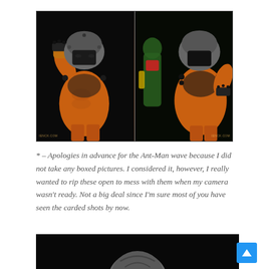[Figure (photo): Two side-by-side product photos of an orange muscular Marvel Legends action figure with grey spiked armor helmet and black studded accessories. Left photo: close-up of figure punching with fist raised, dark background. Right photo: same figure facing another figure (green and yellow costume), with website watermark visible.]
* – Apologies in advance for the Ant-Man wave because I did not take any boxed pictures.  I considered it, however, I really wanted to rip these open to mess with them when my camera wasn’t ready.  Not a big deal since I’m sure most of you have seen the carded shots by now.
[Figure (photo): Bottom partial image showing the top of a grey sculpted head/helmet piece against a black background.]